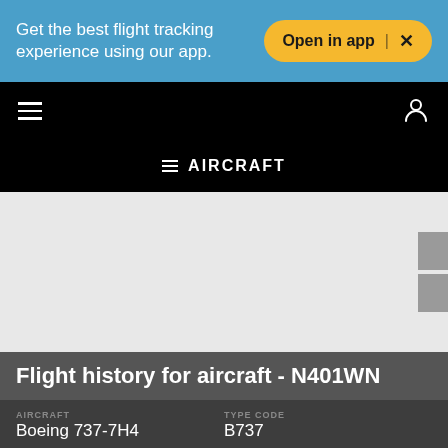Get the best flight tracking experience using our app.
Open in app | ×
[Figure (screenshot): Navigation bar with hamburger menu icon on left and user/profile icon on right on black background]
≡ AIRCRAFT
[Figure (map): Gray map placeholder area with side tab controls]
Flight history for aircraft - N401WN
| Field | Value |
| --- | --- |
| AIRCRAFT | Boeing 737-7H4 |
| TYPE CODE | B737 |
| AIRLINE | Southwest Airlines |
| Code | WN / SWA |
| OPERATOR | Southwest Airlines |
| Code | WN / SWA |
| MODE S | A4B259 |